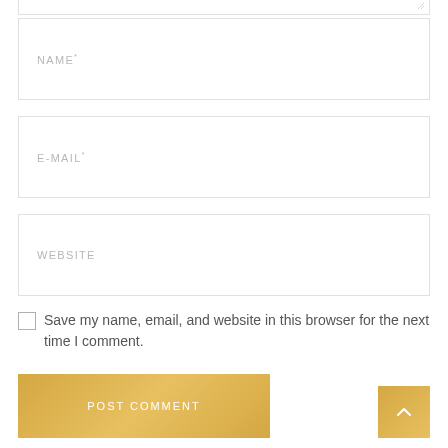[Figure (screenshot): Partial textarea input at top of page with resize handle]
NAME*
E-MAIL*
WEBSITE
Save my name, email, and website in this browser for the next time I comment.
POST COMMENT
[Figure (other): Gold/amber scroll-to-top button with upward caret arrow in bottom right corner]